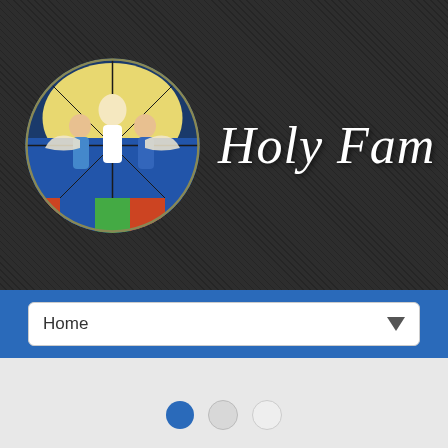[Figure (logo): Circular stained glass window logo showing religious figures (Jesus and angels) with colorful stained glass design]
Holy Fam
Home
[Figure (photo): Exterior photo of a modern brick church building with tall tower/bell tower featuring large glass windows, surrounded by green trees and red/pink flowering trees]
Pagination dots: 3 dots, first filled (active), second and third empty